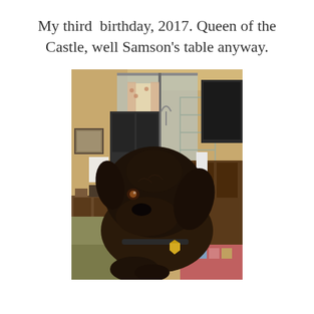My third birthday, 2017. Queen of the Castle, well Samson's table anyway.
[Figure (photo): A chocolate Labrador Retriever dog sitting on or near a bed/table, looking at the camera with a yellow house-shaped tag on its collar. The background shows a bedroom with a mirror, dresser, shelving unit, and warm-toned walls.]